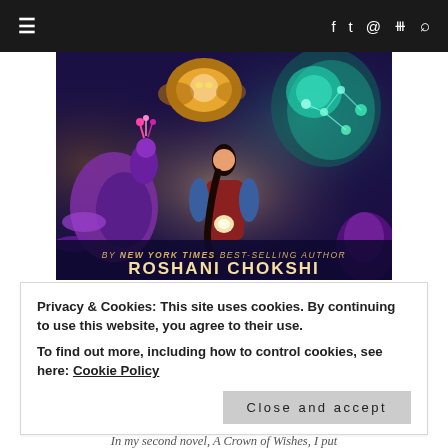≡  f  𝕏  ◻  ⌂  🔍
[Figure (illustration): Book cover illustration for a novel by Roshani Chokshi. A girl with a long braid holds a glowing orb, surrounded by a purple peacock, a golden lion, and a teal glowing elephant/creature. Text reads 'BY NEW YORK TIMES BEST-SELLING AUTHOR ROSHANI CHOKSHI'.]
Privacy & Cookies: This site uses cookies. By continuing to use this website, you agree to their use.
To find out more, including how to control cookies, see here: Cookie Policy
Close and accept
my main characters. In my debut, The Star-Touched Queen, my most ambitious character was the flesh eating demon horse—
In my second novel, A Crown of Wishes, I put